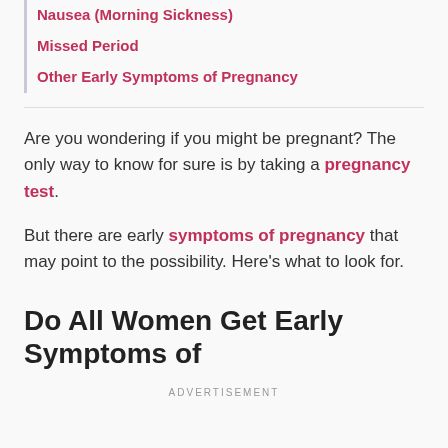Nausea (Morning Sickness)
Missed Period
Other Early Symptoms of Pregnancy
Are you wondering if you might be pregnant? The only way to know for sure is by taking a pregnancy test.
But there are early symptoms of pregnancy that may point to the possibility. Here's what to look for.
Do All Women Get Early Symptoms of
ADVERTISEMENT